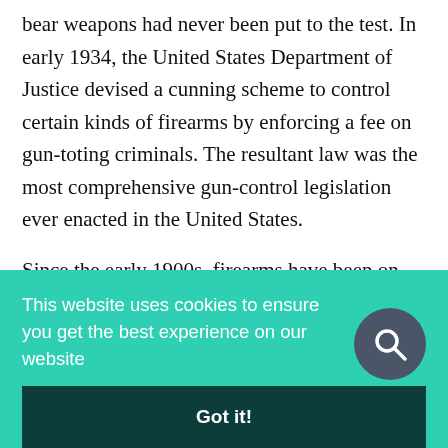bear weapons had never been put to the test. In early 1934, the United States Department of Justice devised a cunning scheme to control certain kinds of firearms by enforcing a fee on gun-toting criminals. The resultant law was the most comprehensive gun-control legislation ever enacted in the United States.
Since the early 1900s, firearms have been on the public agenda. States re-examined the necessity
This website uses cookies to ensure you get the best experience on our website
Got it!